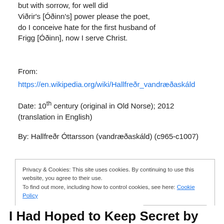but with sorrow, for well did Viðrir's [Óðinn's] power please the poet, do I conceive hate for the first husband of Frigg [Óðinn], now I serve Christ.
From:
https://en.wikipedia.org/wiki/Hallfreðr_vandræðaskáld
Date: 10th century (original in Old Norse); 2012 (translation in English)
By: Hallfreðr Óttarsson (vandræðaskáld) (c965-c1007)
Privacy & Cookies: This site uses cookies. By continuing to use this website, you agree to their use.
To find out more, including how to control cookies, see here: Cookie Policy
Close and accept
I Had Hoped to Keep Secret by